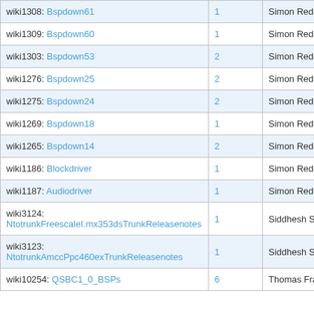| Name | Count | User |
| --- | --- | --- |
| wiki1308: Bspdown61 | 1 | Simon Redding |
| wiki1309: Bspdown60 | 1 | Simon Redding |
| wiki1303: Bspdown53 | 2 | Simon Redding |
| wiki1276: Bspdown25 | 2 | Simon Redding |
| wiki1275: Bspdown24 | 2 | Simon Redding |
| wiki1269: Bspdown18 | 1 | Simon Redding |
| wiki1265: Bspdown14 | 2 | Simon Redding |
| wiki1186: Blockdriver | 1 | Simon Redding |
| wiki1187: Audiodriver | 1 | Simon Redding |
| wiki3124: NtotrunkFreescaleI.mx353dsTrunkReleasenotes | 1 | Siddhesh Salelka |
| wiki3123: NtotrunkAmccPpc460exTrunkReleasenotes | 1 | Siddhesh Salelka |
| wiki10254: QSBC1_0_BSPs | 6 | Thomas Franzky |